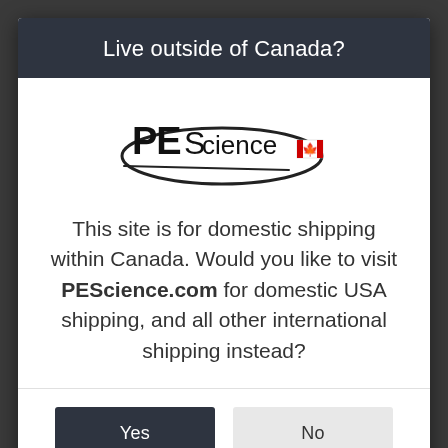Live outside of Canada?
[Figure (logo): PEScience Canada logo — black bold text 'PEScience' with an elliptical swoosh underline and a Canadian maple leaf flag icon]
This site is for domestic shipping within Canada. Would you like to visit PEScience.com for domestic USA shipping, and all other international shipping instead?